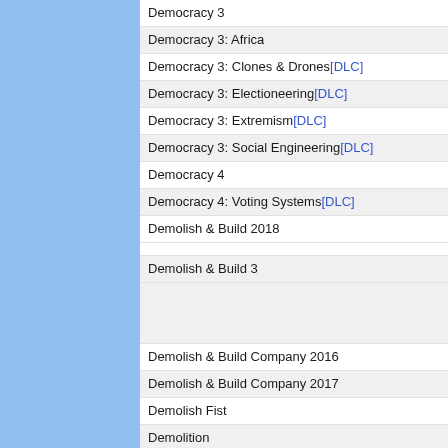Democracy 3
Democracy 3: Africa
Democracy 3: Clones & Drones [DLC]
Democracy 3: Electioneering [DLC]
Democracy 3: Extremism [DLC]
Democracy 3: Social Engineering [DLC]
Democracy 4
Democracy 4: Voting Systems [DLC]
Demolish & Build 2018
Demolish & Build 3
Demolish & Build Company 2016
Demolish & Build Company 2017
Demolish Fist
Demolition
Demolition Company: Der Abbruch-Simulator
Demolition Crew
Demolition Derby
Demolition Herby
Demolition Inc.
Demolition Man
Demolition Man
Demolition Racer
Demolition Robots K.K
Demon Attack